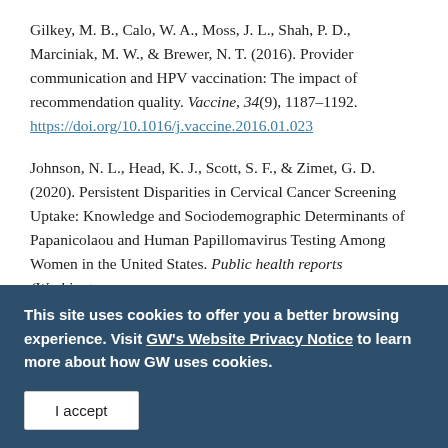Gilkey, M. B., Calo, W. A., Moss, J. L., Shah, P. D., Marciniak, M. W., & Brewer, N. T. (2016). Provider communication and HPV vaccination: The impact of recommendation quality. Vaccine, 34(9), 1187–1192. https://doi.org/10.1016/j.vaccine.2016.01.023
Johnson, N. L., Head, K. J., Scott, S. F., & Zimet, G. D. (2020). Persistent Disparities in Cervical Cancer Screening Uptake: Knowledge and Sociodemographic Determinants of Papanicolaou and Human Papillomavirus Testing Among Women in the United States. Public health reports (Washington...
This site uses cookies to offer you a better browsing experience. Visit GW's Website Privacy Notice to learn more about how GW uses cookies.
I accept